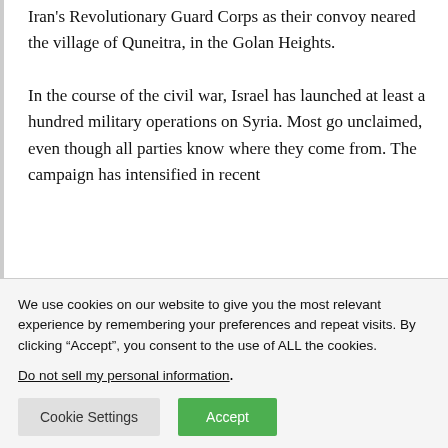Iran's Revolutionary Guard Corps as their convoy neared the village of Quneitra, in the Golan Heights.

In the course of the civil war, Israel has launched at least a hundred military operations on Syria. Most go unclaimed, even though all parties know where they come from. The campaign has intensified in recent
We use cookies on our website to give you the most relevant experience by remembering your preferences and repeat visits. By clicking “Accept”, you consent to the use of ALL the cookies.
Do not sell my personal information.